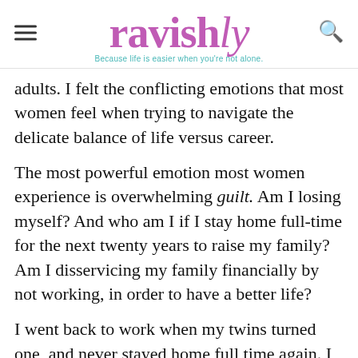ravishly — Because life is easier when you're not alone.
adults. I felt the conflicting emotions that most women feel when trying to navigate the delicate balance of life versus career.
The most powerful emotion most women experience is overwhelming guilt. Am I losing myself? And who am I if I stay home full-time for the next twenty years to raise my family? Am I disservicing my family financially by not working, in order to have a better life?
I went back to work when my twins turned one, and never stayed home full time again. I have